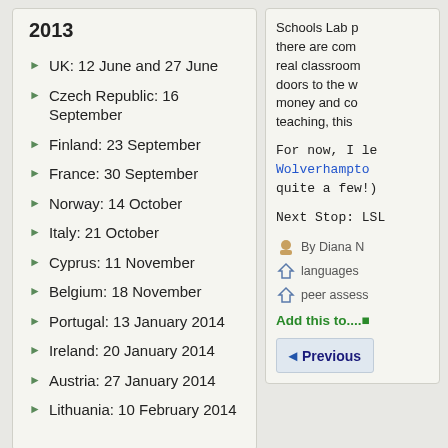2013
UK: 12 June and 27 June
Czech Republic: 16 September
Finland: 23 September
France: 30 September
Norway: 14 October
Italy: 21 October
Cyprus: 11 November
Belgium: 18 November
Portugal: 13 January 2014
Ireland: 20 January 2014
Austria: 27 January 2014
Lithuania: 10 February 2014
Schools Lab pr... there are comm... real classroom... doors to the w... money and com... teaching, this n...
For now, I le... Wolverhampto... quite a few!)
Next Stop: LSL...
By Diana l... languages... peer assess...
Add this to....
Previous